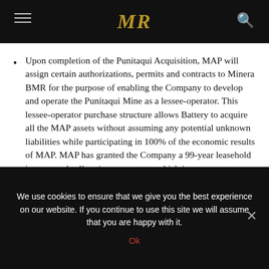MR
Upon completion of the Punitaqui Acquisition, MAP will assign certain authorizations, permits and contracts to Minera BMR for the purpose of enabling the Company to develop and operate the Punitaqui Mine as a lessee-operator. This lessee-operator purchase structure allows Battery to acquire all the MAP assets without assuming any potential unknown liabilities while participating in 100% of the economic results of MAP. MAP has granted the Company a 99-year leasehold interest and call option pursuant to which it can convert
We use cookies to ensure that we give you the best experience on our website. If you continue to use this site we will assume that you are happy with it.
Ok